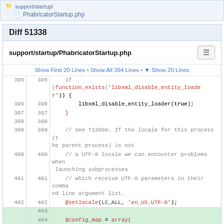support/startup/
PhabricatorStartup.php
Diff 51338
support/startup/PhabricatorStartup.php
Show First 20 Lines • Show All 394 Lines • ▼ Show 20 Lines
| line | line | code |
| --- | --- | --- |
| 395 | 395 |     if (function_exists('libxml_disable_entity_loader')) { |
| 396 | 396 |         libxml_disable_entity_loader(true); |
| 397 | 397 |     } |
| 398 | 398 |  |
| 399 | 399 |     // See T13060. If the locale for this process (the parent process) is not |
| 400 | 400 |     // a UTF-8 locale we can encounter problems when launching subprocesses |
| 401 | 401 |     // which receive UTF-8 parameters in their command line argument list. |
| 402 | 402 |     @setlocale(LC_ALL, 'en_US.UTF-8'); |
|  | 403 |  |
|  | 404 |     $config_map = array( |
|  | 405 |     // See PHI1894. Keep "args" in exception backtraces. |